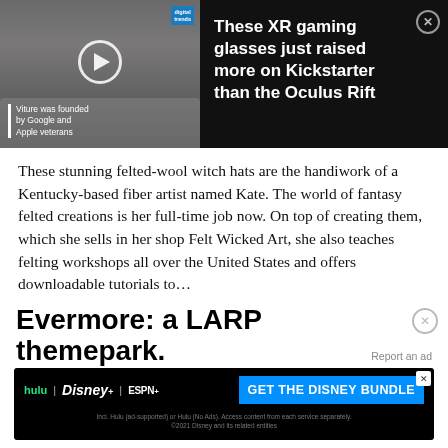[Figure (screenshot): Ad banner showing a video thumbnail of a person wearing dark glasses (Viture XR glasses), with Digital Trends badge, play button overlay, and text 'Viture was founded by Google and Apple veterans'. Side text reads: 'These XR gaming glasses just raised more on Kickstarter than the Oculus Rift' with a close button.]
These stunning felted-wool witch hats are the handiwork of a Kentucky-based fiber artist named Kate. The world of fantasy felted creations is her full-time job now. On top of creating them, which she sells in her shop Felt Wicked Art, she also teaches felting workshops all over the United States and offers downloadable tutorials to…
READ THE REST
Evermore: a LARP themepark.
Report an ad
[Figure (screenshot): Disney Bundle advertisement banner showing Hulu, Disney+, and ESPN+ logos with 'GET THE DISNEY BUNDLE' button in blue. Fine print: 'Incl. Hulu (ad-supported) or Hulu (No Ads). Access content from each service separately. ©2021 Disney and its related entities']